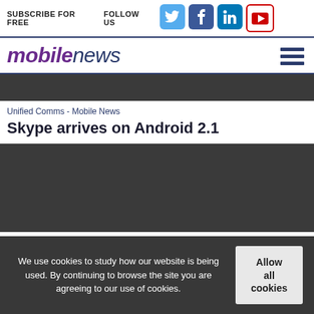SUBSCRIBE FOR FREE  FOLLOW US
[Figure (logo): Mobile News logo with social media icons (Twitter, Facebook, LinkedIn, YouTube) in header]
[Figure (other): Dark grey banner/advertisement strip]
Unified Comms - Mobile News
Skype arrives on Android 2.1
[Figure (photo): Dark grey article image placeholder]
We use cookies to study how our website is being used. By continuing to browse the site you are agreeing to our use of cookies.